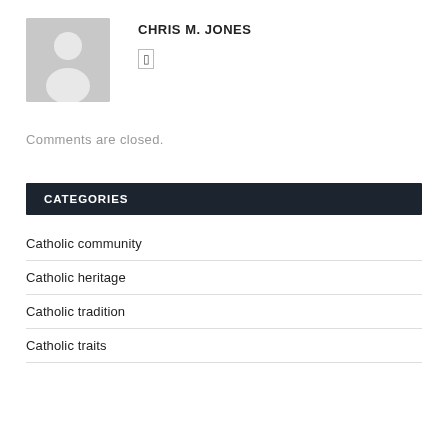[Figure (illustration): Gray placeholder avatar image showing silhouette of a person]
CHRIS M. JONES
Comments are closed.
CATEGORIES
Catholic community
Catholic heritage
Catholic tradition
Catholic traits